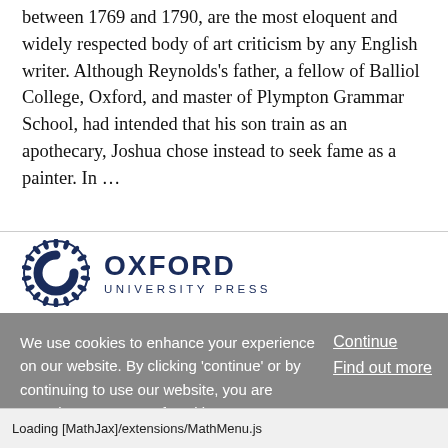between 1769 and 1790, are the most eloquent and widely respected body of art criticism by any English writer. Although Reynolds's father, a fellow of Balliol College, Oxford, and master of Plympton Grammar School, had intended that his son train as an apothecary, Joshua chose instead to seek fame as a painter. In …
[Figure (logo): Oxford University Press logo with circular laurel wreath emblem and text OXFORD UNIVERSITY PRESS]
We use cookies to enhance your experience on our website. By clicking 'continue' or by continuing to use our website, you are agreeing to our use of cookies. You can change your cookie settings at any time.
Continue
Find out more
Loading [MathJax]/extensions/MathMenu.js